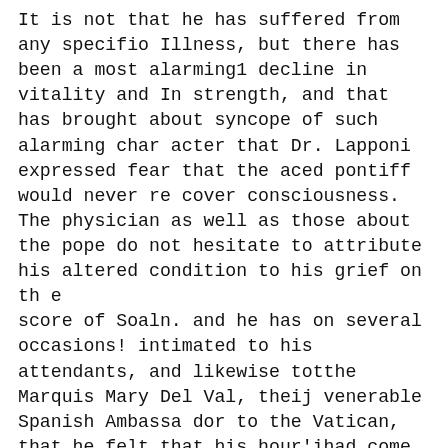It is not that he has suffered from any specifio Illness, but there has been a most alarming1 decline in vitality and In strength, and that has brought about syncope of such alarming char acter that Dr. Lapponi expressed fear that the aced pontiff would never re cover consciousness.
The physician as well as those about the pope do not hesitate to attribute his altered condition to his grief on th e
score of Soaln. and he has on several occasions! intimated to his attendants, and likewise totthe Marquis Mary Del Val, theij venerable Spanish Ambassa dor to the Vatican, that he felt that his hour'ihad come, and that Divine Providence would asiuredly not per